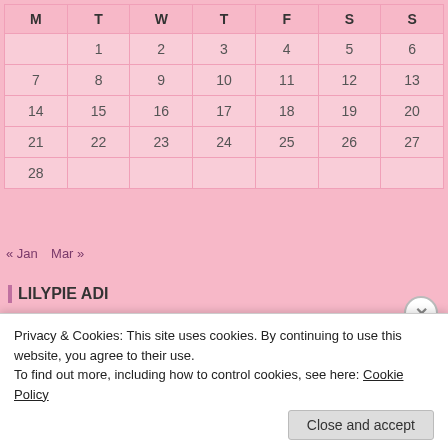| M | T | W | T | F | S | S |
| --- | --- | --- | --- | --- | --- | --- |
|  | 1 | 2 | 3 | 4 | 5 | 6 |
| 7 | 8 | 9 | 10 | 11 | 12 | 13 |
| 14 | 15 | 16 | 17 | 18 | 19 | 20 |
| 21 | 22 | 23 | 24 | 25 | 26 | 27 |
| 28 |  |  |  |  |  |  |
« Jan   Mar »
LILYPIE ADI
[Figure (illustration): Lilypie child age ticker with fairy girl and heart flowers on vines. Caption: My child is 17 years, 2 months, 3 weeks & 1 day old]
Privacy & Cookies: This site uses cookies. By continuing to use this website, you agree to their use.
To find out more, including how to control cookies, see here: Cookie Policy
Close and accept